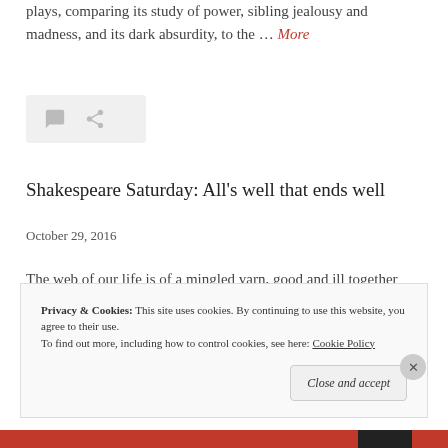plays, comparing its study of power, sibling jealousy and madness, and its dark absurdity, to the … More
[Figure (other): Icon bar with comment bubble and share/link icons on a light grey background]
Shakespeare Saturday: All's well that ends well
October 29, 2016
The web of our life is of a mingled yarn, good and ill together All's well that ends well is another problem play, th...
Privacy & Cookies: This site uses cookies. By continuing to use this website, you agree to their use. To find out more, including how to control cookies, see here: Cookie Policy
Close and accept